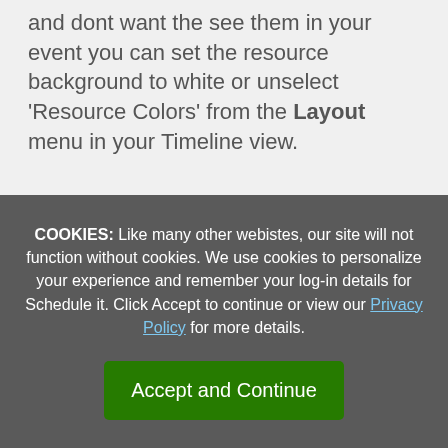and dont want the see them in your event you can set the resource background to white or unselect 'Resource Colors' from the Layout menu in your Timeline view.
COOKIES: Like many other webistes, our site will not function without cookies. We use cookies to personalize your experience and remember your log-in details for Schedule it. Click Accept to continue or view our Privacy Policy for more details.
Accept and Continue